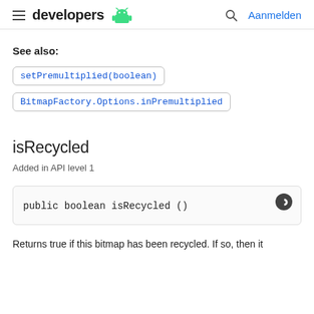developers [android logo] Aanmelden
See also:
setPremultiplied(boolean)
BitmapFactory.Options.inPremultiplied
isRecycled
Added in API level 1
public boolean isRecycled ()
Returns true if this bitmap has been recycled. If so, then it